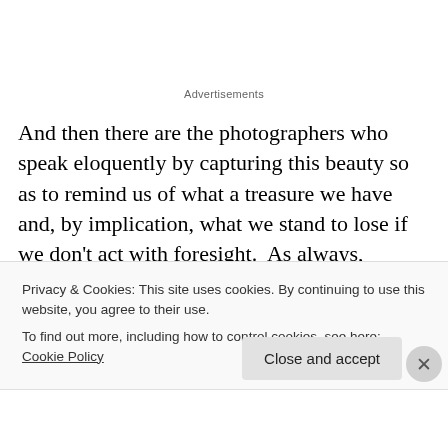Advertisements
And then there are the photographers who speak eloquently by capturing this beauty so as to remind us of what a treasure we have and, by implication, what we stand to lose if we don't act with foresight.  As always, Beacon-based Robert Rodriguez Jr. is a very great favorite of mine, and I sometimes visit the RiverWinds Gallery there to treat my eyes (and my soul, dare I say) to
Privacy & Cookies: This site uses cookies. By continuing to use this website, you agree to their use.
To find out more, including how to control cookies, see here: Cookie Policy